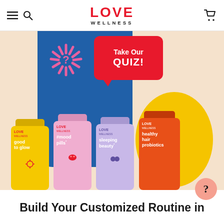LOVE WELLNESS
[Figure (photo): Love Wellness website screenshot showing four supplement bottles (good to glow, #mood pills, sleeping beauty, healthy hair probiotics) on a colorful background with a 'Take Our QUIZ!' speech bubble and decorative pink starburst and yellow oval shapes]
Build Your Customized Routine in